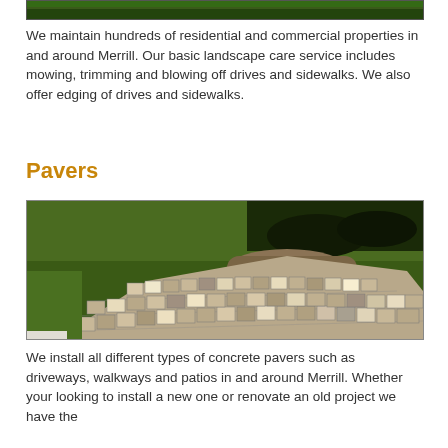[Figure (photo): Top portion of a landscape/grass photo, partially cropped at the top of the page]
We maintain hundreds of residential and commercial properties in and around Merrill. Our basic landscape care service includes mowing, trimming and blowing off drives and sidewalks. We also offer edging of drives and sidewalks.
Pavers
[Figure (photo): A curved paver driveway/walkway made of concrete pavers in gray and beige tones, surrounded by green grass, with a flower bed in the background]
We install all different types of concrete pavers such as driveways, walkways and patios in and around Merrill. Whether your looking to install a new one or renovate an old project we have the